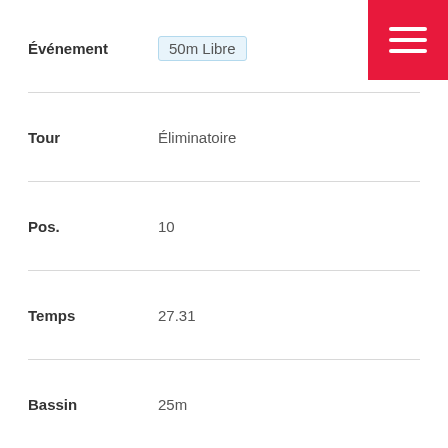| Field | Value |
| --- | --- |
| Événement | 50m Libre |
| Tour | Éliminatoire |
| Pos. | 10 |
| Temps | 27.31 |
| Bassin | 25m |
| Événement | 100m Brasse |
| Tour | Éliminatoire |
| Pos. | 9 |
| Temps | 1:13.56 |